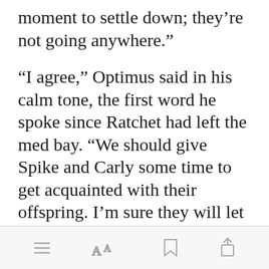moment to settle down; they’re not going anywhere.”
“I agree,” Optimus said in his calm tone, the first word he spoke since Ratchet had left the med bay. “We should give Spike and Carly some time to get acquainted with their offspring. I’m sure they will let us know when they are ready to see us.”
[Figure (screenshot): Mobile app toolbar with menu, font size, bookmark, and share icons]